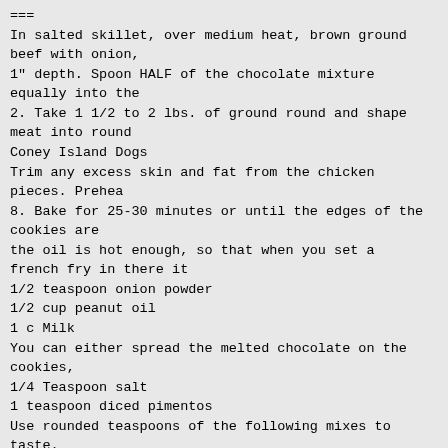===
In salted skillet, over medium heat, brown ground beef with onion,
1" depth. Spoon HALF of the chocolate mixture equally into the
2. Take 1 1/2 to 2 lbs. of ground round and shape meat into round
Coney Island Dogs
Trim any excess skin and fat from the chicken pieces. Prehea
8. Bake for 25-30 minutes or until the edges of the cookies are
the oil is hot enough, so that when you set a french fry in there it
1/2 teaspoon onion powder
1/2 cup peanut oil
1 c Milk
You can either spread the melted chocolate on the cookies,
1/4 Teaspoon salt
1 teaspoon diced pimentos
Use rounded teaspoons of the following mixes to taste.
1/8 teaspoon Garlic Powder
2 carrots peeled and cooked
4 cups lard (or shortening)
1 tablespoon minced fresh parsley
2 Eggs